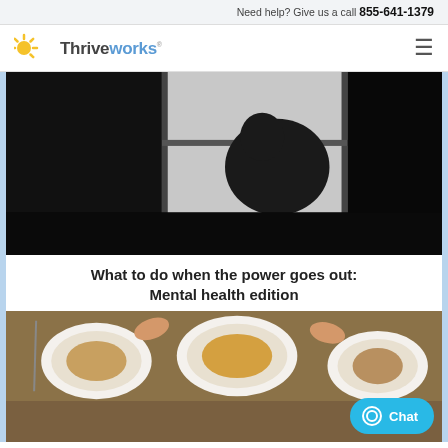Need help? Give us a call 855-641-1379
[Figure (logo): Thriveworks logo with sun icon and text]
[Figure (photo): Silhouette of a person sitting with head bowed, looking out a dark window — moody black and white photo]
What to do when the power goes out: Mental health edition
[Figure (photo): Overhead view of people sharing a meal at a table with plates of food]